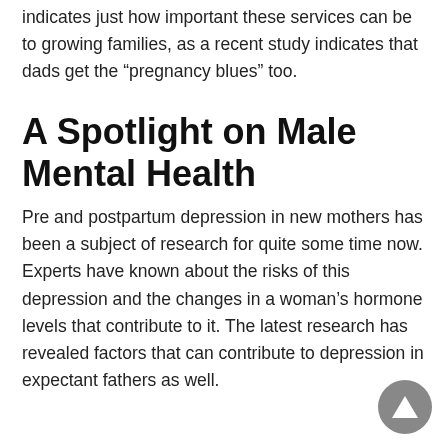indicates just how important these services can be to growing families, as a recent study indicates that dads get the “pregnancy blues” too.
A Spotlight on Male Mental Health
Pre and postpartum depression in new mothers has been a subject of research for quite some time now. Experts have known about the risks of this depression and the changes in a woman’s hormone levels that contribute to it. The latest research has revealed factors that can contribute to depression in expectant fathers as well.